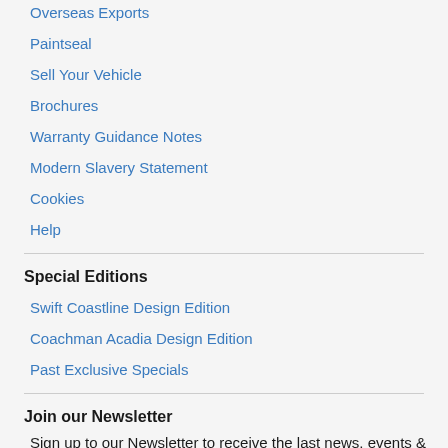Overseas Exports
Paintseal
Sell Your Vehicle
Brochures
Warranty Guidance Notes
Modern Slavery Statement
Cookies
Help
Special Editions
Swift Coastline Design Edition
Coachman Acadia Design Edition
Past Exclusive Specials
Join our Newsletter
Sign up to our Newsletter to receive the last news, events &